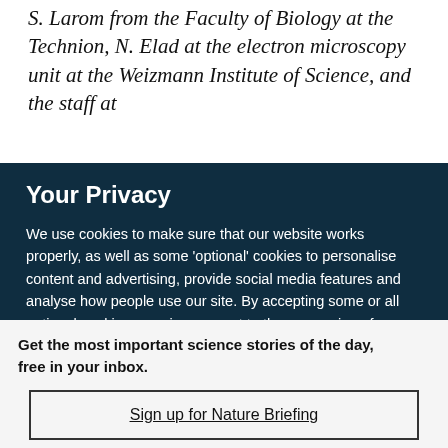S. Larom from the Faculty of Biology at the Technion, N. Elad at the electron microscopy unit at the Weizmann Institute of Science, and the staff at
Your Privacy
We use cookies to make sure that our website works properly, as well as some 'optional' cookies to personalise content and advertising, provide social media features and analyse how people use our site. By accepting some or all optional cookies you give consent to the processing of your personal data, including transfer to third parties, some in countries outside of the European Economic Area that do not offer the same data protection standards as the country where you live. You can decide which optional cookies to accept by clicking on 'Manage Settings', where you can
Get the most important science stories of the day, free in your inbox.
Sign up for Nature Briefing